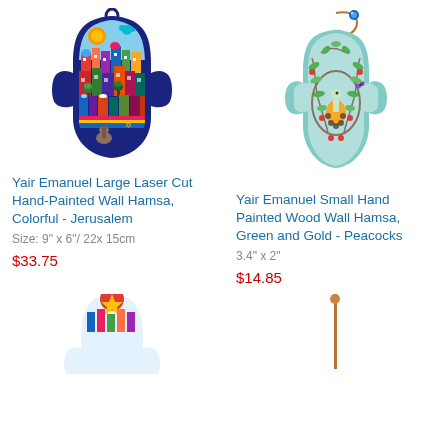[Figure (photo): Yair Emanuel large laser cut hand-painted hamsa wall decoration with colorful Jerusalem cityscape design on dark navy background, featuring houses, domes, sun, palm trees in vibrant colors]
[Figure (photo): Yair Emanuel small hand painted wood wall hamsa in light teal/aqua color with peacock, leaves, and red berries design, hanging from copper wire with blue bead]
Yair Emanuel Large Laser Cut Hand-Painted Wall Hamsa, Colorful - Jerusalem
Size: 9" x 6"/ 22x 15cm
$33.75
Yair Emanuel Small Hand Painted Wood Wall Hamsa, Green and Gold - Peacocks
3.4" x 2"
$14.85
[Figure (photo): Partial view of another hamsa product at bottom left, partially cropped]
[Figure (photo): Partial view of another hamsa product at bottom right, partially cropped]